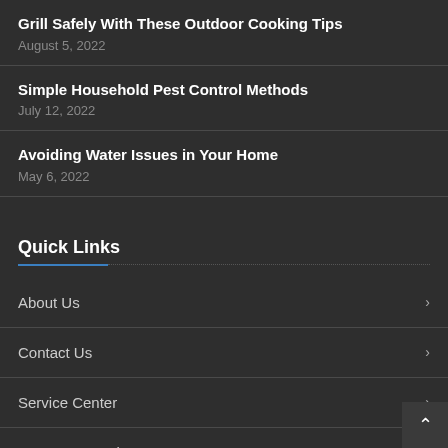Grill Safely With These Outdoor Cooking Tips
August 5, 2022
Simple Household Pest Control Methods
July 12, 2022
Avoiding Water Issues in Your Home
May 6, 2022
Quick Links
About Us
Contact Us
Service Center
Insurance Products